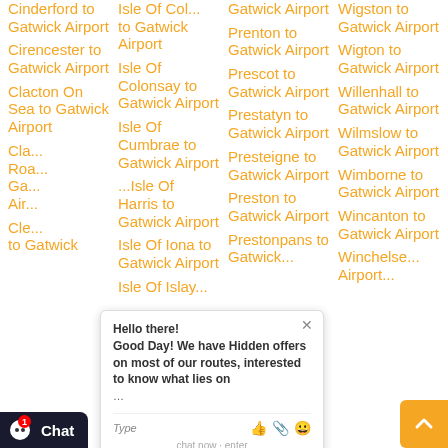Cinderford to Gatwick Airport
Cirencester to Gatwick Airport
Clacton On Sea to Gatwick Airport
Cla... Road to Gatwick Airport
Cle... to Gatwick Airport
Isle Of Col... to Gatwick Airport
Isle Of Colonsay to Gatwick Airport
Isle Of Cumbrae to Gatwick Airport
Isle Of Harris to Gatwick Airport
Isle Of Iona to Gatwick Airport
Isle Of Islay...
Gatwick Airport
Prenton to Gatwick Airport
Prescot to Gatwick Airport
Prestatyn to Gatwick Airport
Presteigne to Gatwick Airport
Preston to Gatwick Airport
Prestonpans to Gatwick...
Wigston to Gatwick Airport
Wigton to Gatwick Airport
Willenhall to Gatwick Airport
Wilmslow to Gatwick Airport
Wimborne to Gatwick Airport
Wincanton to Gatwick Airport
Winchelse... Airport